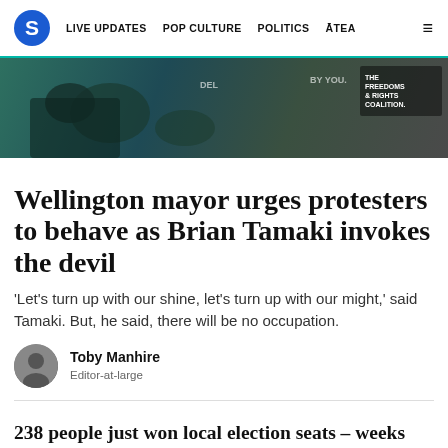S  LIVE UPDATES  POP CULTURE  POLITICS  ĀTEA  ≡
[Figure (photo): Protest scene with person on ground, Freedoms & Rights Coalition text overlay visible]
Wellington mayor urges protesters to behave as Brian Tamaki invokes the devil
'Let's turn up with our shine, let's turn up with our might,' said Tamaki. But, he said, there will be no occupation.
Toby Manhire
Editor-at-large
238 people just won local election seats – weeks before the first vote is cast
Toby Manhire